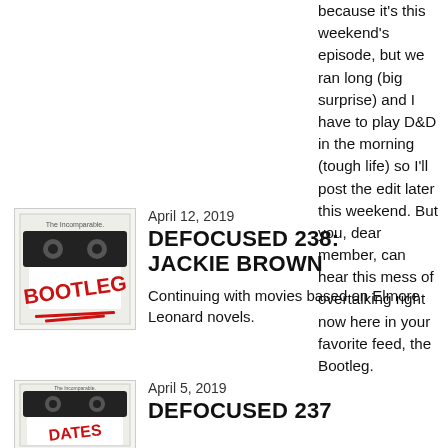because it's this weekend's episode, but we ran long (big surprise) and I have to play D&D in the morning (tough life) so I'll post the edit later this weekend. But you, dear member, can hear this mess of overtalking right now here in your favorite feed, the Bootleg.
April 12, 2019
DEFOCUSED 238: JACKIE BROWN
Continuing with movies based on Elmore Leonard novels.
April 5, 2019
DEFOCUSED 237